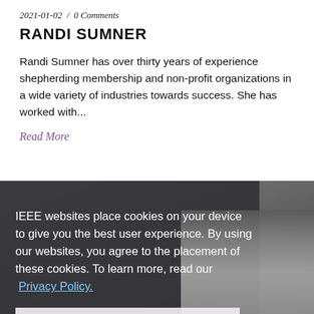2021-01-02 / 0 Comments
RANDI SUMNER
Randi Sumner has over thirty years of experience shepherding membership and non-profit organizations in a wide variety of industries towards success. She has worked with...
Read More
[Figure (photo): Dark overlay panel with cookie consent notice overlaid on a photo of a person wearing glasses]
IEEE websites place cookies on your device to give you the best user experience. By using our websites, you agree to the placement of these cookies. To learn more, read our Privacy Policy.
Accept & Close